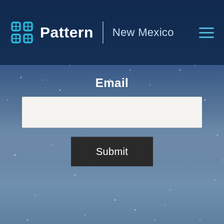[Figure (screenshot): Website header with Pattern logo (blue grid icon), 'Pattern' text in white, vertical divider, 'New Mexico' subtitle in light blue-gray, and hamburger menu icon in teal on dark navy background]
Email
[Figure (screenshot): White email input text field]
Submit